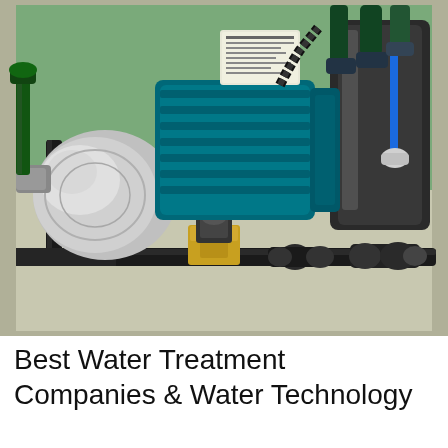[Figure (photo): Close-up photograph of a water pump system showing a teal/blue electric motor with a stainless steel pump head on the left, black PVC pipes running horizontally with a brass solenoid valve, pipe fittings and connectors, a blue flexible tube, and a black cylindrical pressure tank/filter vessel on the right. The equipment sits on a light grey/beige platform surface with a bright green floor visible in the background.]
Best Water Treatment Companies & Water Technology